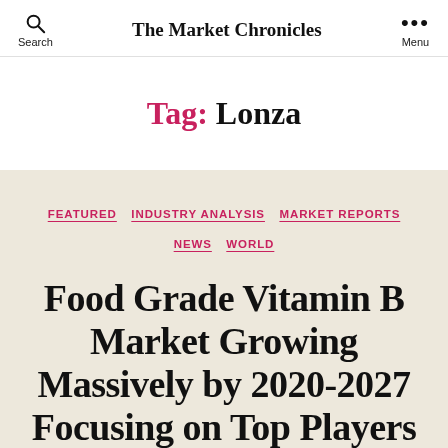The Market Chronicles
Tag: Lonza
FEATURED  INDUSTRY ANALYSIS  MARKET REPORTS  NEWS  WORLD
Food Grade Vitamin B Market Growing Massively by 2020-2027 Focusing on Top Players Broth…